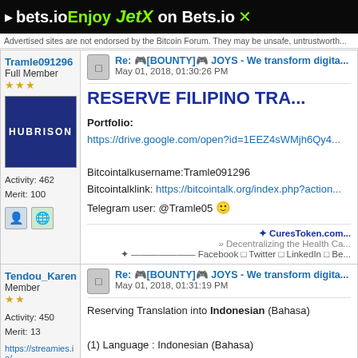[Figure (screenshot): Black banner ad for bets.io featuring JetX game promotion]
Advertised sites are not endorsed by the Bitcoin Forum. They may be unsafe, untrustworth...
Tramle091296
Full Member
Activity: 462
Merit: 100
Re: [BOUNTY] JOYS - We transform digita...
May 01, 2018, 01:30:26 PM
RESERVE FILIPINO TRA...
Portfolio:
https://drive.google.com/open?id=1EEZ4sWMjh6Qy4...
Bitcointalkusername:Tramle091296
Bitcointalklink: https://bitcointalk.org/index.php?action...
Telegram user: @Tramle05
Tendou_Karen
Member
Activity: 450
Merit: 13
https://streamies.io/
Re: [BOUNTY] JOYS - We transform digita...
May 01, 2018, 01:31:19 PM
Reserving Translation into Indonesian (Bahasa)
(1) Language : Indonesian (Bahasa)
(2) Area for which you apply: ANN & Bounty Thread -
(3) Experience in Translation: https://medium...